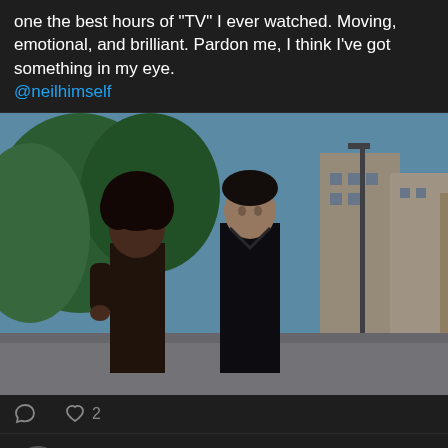one the best hours of "TV" I ever watched. Moving, emotional, and brilliant. Pardon me, I think I've got something in my eye. @neilhimself
[Figure (photo): Two people walking outdoors on a street with buildings and trees in background]
♡ 2
Rob H. B... @... · Aug 17
Dear @TBSNetwork @MLB @mlbpa @Yankees @YESNetwork @comcast Why can't people, like me,